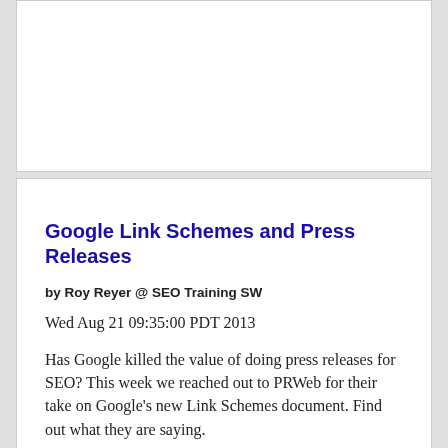Google Link Schemes and Press Releases
by Roy Reyer @ SEO Training SW
Wed Aug 21 09:35:00 PDT 2013
Has Google killed the value of doing press releases for SEO? This week we reached out to PRWeb for their take on Google's new Link Schemes document. Find out what they are saying.